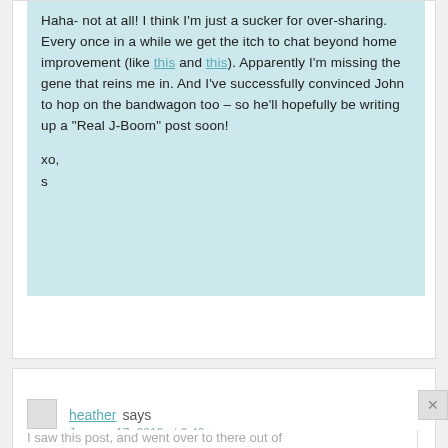Haha- not at all! I think I'm just a sucker for over-sharing. Every once in a while we get the itch to chat beyond home improvement (like this and this). Apparently I'm missing the gene that reins me in. And I've successfully convinced John to hop on the bandwagon too – so he'll hopefully be writing up a "Real J-Boom" post soon!

xo,
s
heather says
January 17, 2012 at 9:40 pm
I saw this post, and went over to there out of